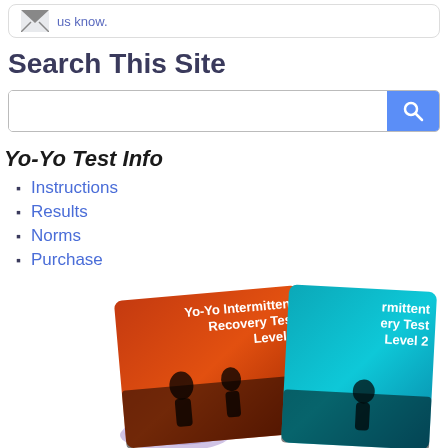us know.
Search This Site
[Figure (screenshot): Search input box with blue search button on the right]
Yo-Yo Test Info
Instructions
Results
Norms
Purchase
[Figure (photo): Two DVD cases showing Yo-Yo Intermittent Recovery Test Level 1 (orange) and Level 2 (teal/blue), with a DVD disc in front]